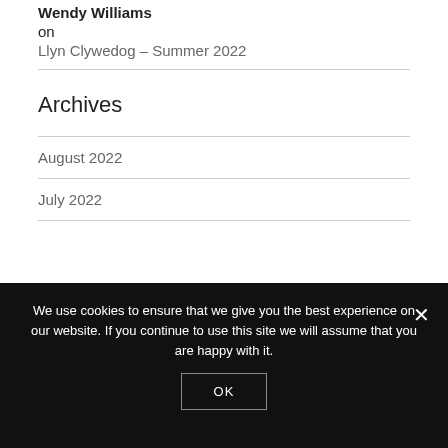Wendy Williams
on
Llyn Clywedog – Summer 2022
Archives
August 2022
July 2022
We use cookies to ensure that we give you the best experience on our website. If you continue to use this site we will assume that you are happy with it.